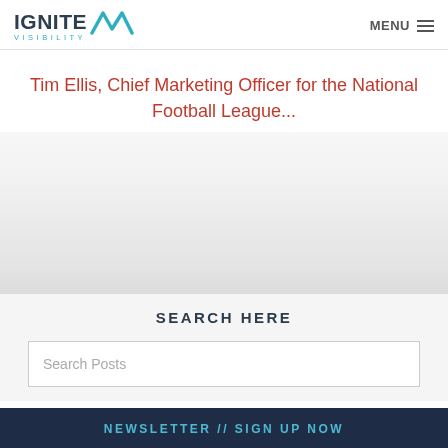IGNITE VISIBILITY | MENU
Tim Ellis, Chief Marketing Officer for the National Football League...
[Figure (other): Blurred/obscured article content area]
SEARCH HERE
Search Posts
NEWSLETTER // SIGN UP NOW